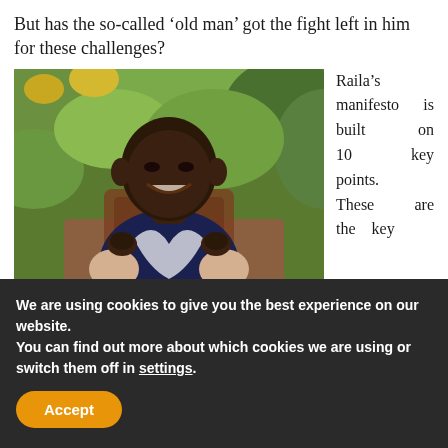But has the so-called ‘old man’ got the fight left in him for these challenges?
[Figure (photo): A smiling man seated in a chair outdoors, wearing a dark top with white pattern and light-colored sleeves, with green foliage in the background.]
Raila’s manifesto is built on 10 key points. These are the key elements.
We are using cookies to give you the best experience on our website.
You can find out more about which cookies we are using or switch them off in settings.